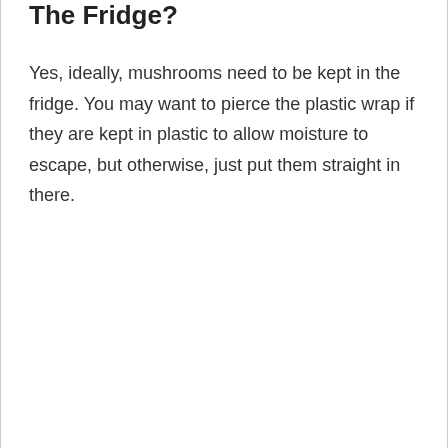The Fridge?
Yes, ideally, mushrooms need to be kept in the fridge. You may want to pierce the plastic wrap if they are kept in plastic to allow moisture to escape, but otherwise, just put them straight in there.